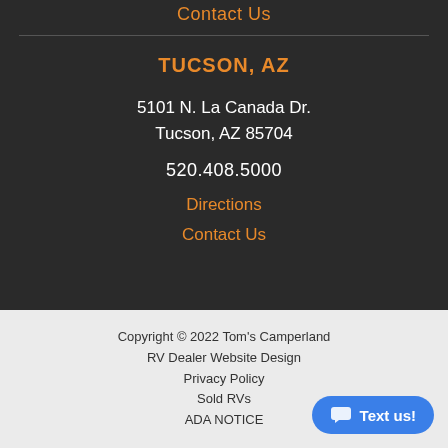Contact Us
TUCSON, AZ
5101 N. La Canada Dr.
Tucson, AZ 85704
520.408.5000
Directions
Contact Us
Copyright © 2022 Tom's Camperland
RV Dealer Website Design
Privacy Policy
Sold RVs
ADA NOTICE
[Figure (other): Chat button with speech bubble icon and text 'Text us!']